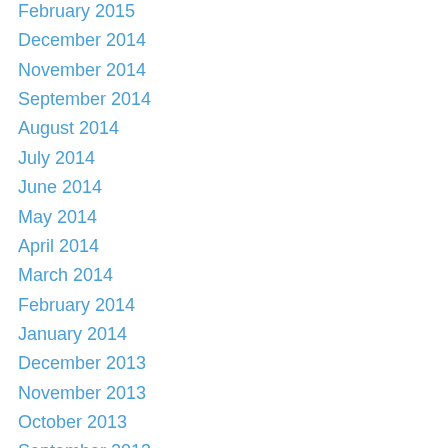February 2015
December 2014
November 2014
September 2014
August 2014
July 2014
June 2014
May 2014
April 2014
March 2014
February 2014
January 2014
December 2013
November 2013
October 2013
September 2013
August 2013
July 2013
June 2013
May 2013